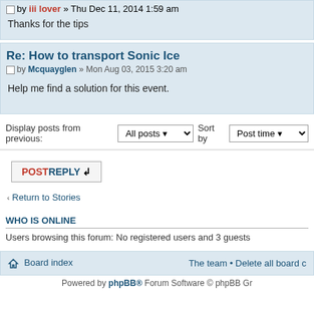by iii lover » Thu Dec 11, 2014 1:59 am
Thanks for the tips
Re: How to transport Sonic Ice
by Mcquayglen » Mon Aug 03, 2015 3:20 am
Help me find a solution for this event.
Display posts from previous: All posts Sort by Post time
POSTREPLY
Return to Stories
WHO IS ONLINE
Users browsing this forum: No registered users and 3 guests
Board index
The team • Delete all board c
Powered by phpBB® Forum Software © phpBB Gr